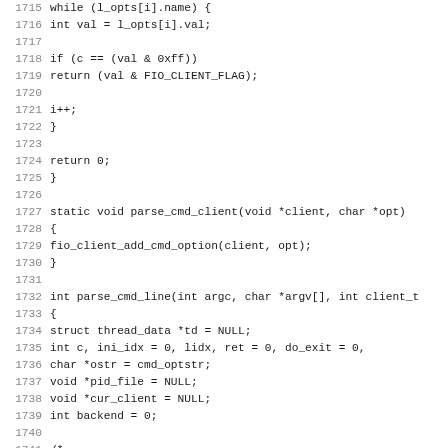Source code listing, lines 1715-1747, C programming language showing parse_cmd_client and parse_cmd_line functions